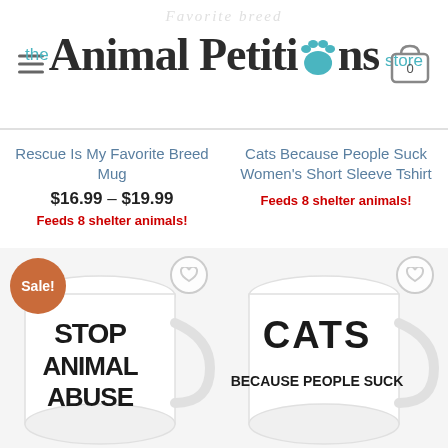[Figure (logo): The Animal Petitions Store logo with teal paw print replacing the 'o' in Petitions]
Rescue Is My Favorite Breed Mug
$16.99 – $19.99
Feeds 8 shelter animals!
Cats Because People Suck Women's Short Sleeve Tshirt
Feeds 8 shelter animals!
[Figure (photo): White mug with bold black text reading STOP ANIMAL ABUSE, on sale badge visible]
[Figure (photo): White mug with bold black text reading CATS BECAUSE PEOPLE SUCK]